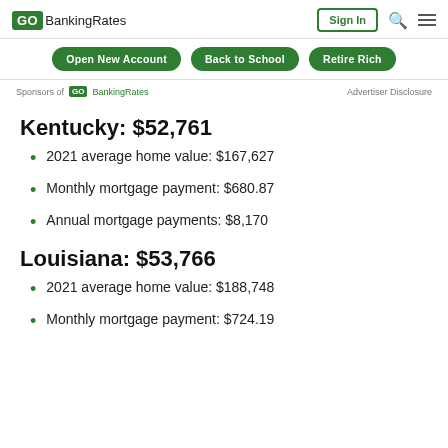GOBankingRates | Sign In
Open New Account | Back to School | Retire Rich
Sponsors of GOBankingRates   Advertiser Disclosure
Kentucky: $52,761
2021 average home value: $167,627
Monthly mortgage payment: $680.87
Annual mortgage payments: $8,170
Louisiana: $53,766
2021 average home value: $188,748
Monthly mortgage payment: $724.19